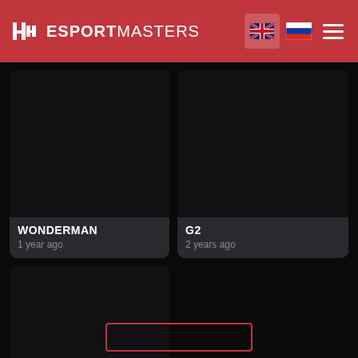ESPORTMASTERS
WONDERMAN
1 year ago
G2
2 years ago
C9
3 years ago